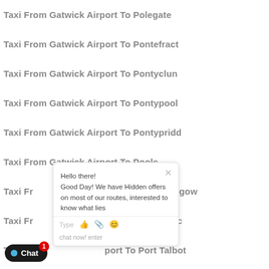Taxi From Gatwick Airport To Polegate
Taxi From Gatwick Airport To Pontefract
Taxi From Gatwick Airport To Pontyclun
Taxi From Gatwick Airport To Pontypool
Taxi From Gatwick Airport To Pontypridd
Taxi From Gatwick Airport To Poole
Taxi From Gatwick Airport To Port Glasgow
Taxi From Gatwick Airport To Port Isaac
Taxi From Gatwick Airport To Port Talbot
Taxi From Gatwick Airport To Porth
Taxi From Gatwick Airport To Porthcawl